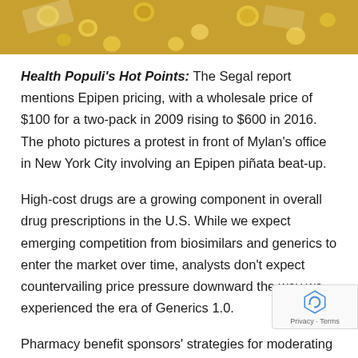[Figure (photo): Photograph showing coins and money scattered on a surface, possibly representing drug pricing or financial themes.]
Health Populi's Hot Points: The Segal report mentions Epipen pricing, with a wholesale price of $100 for a two-pack in 2009 rising to $600 in 2016. The photo pictures a protest in front of Mylan's office in New York City involving an Epipen piñata beat-up.
High-cost drugs are a growing component in overall drug prescriptions in the U.S. While we expect emerging competition from biosimilars and generics to enter the market over time, analysts don't expect countervailing price pressure downward the way we experienced the era of Generics 1.0.
Pharmacy benefit sponsors' strategies for moderating drug